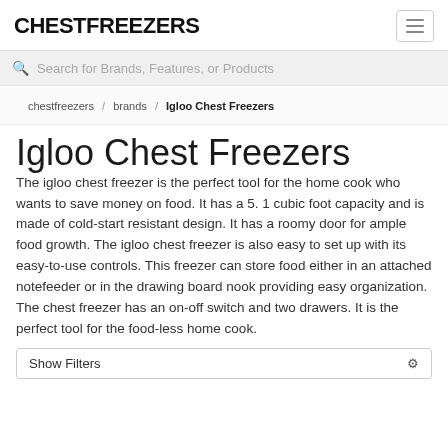CHESTFREEZERS
Search for Brands, Features, or Products
chestfreezers / brands / Igloo Chest Freezers
Igloo Chest Freezers
The igloo chest freezer is the perfect tool for the home cook who wants to save money on food. It has a 5. 1 cubic foot capacity and is made of cold-start resistant design. It has a roomy door for ample food growth. The igloo chest freezer is also easy to set up with its easy-to-use controls. This freezer can store food either in an attached notefeeder or in the drawing board nook providing easy organization. The chest freezer has an on-off switch and two drawers. It is the perfect tool for the food-less home cook.
Show Filters